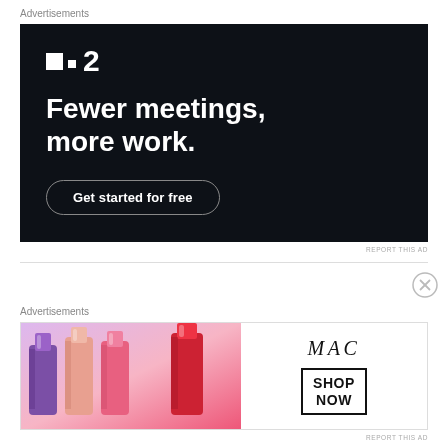Advertisements
[Figure (illustration): Dark navy advertisement banner for a project management tool. Logo shows a square and dot icon with '2'. Headline reads 'Fewer meetings, more work.' with a 'Get started for free' button.]
REPORT THIS AD
Advertisements
[Figure (illustration): MAC cosmetics advertisement showing lipsticks in purple, pink, and red on the left, MAC logo in italics, and a 'SHOP NOW' button in a box on the right.]
REPORT THIS AD